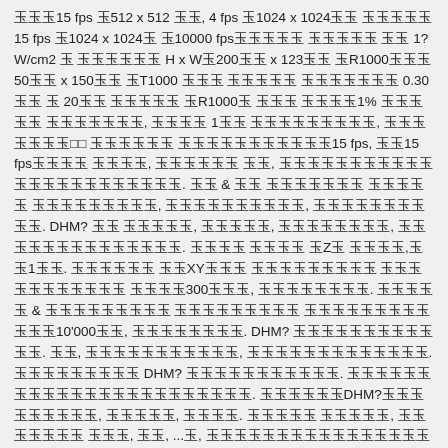㊙15 fps ㊙512 x 512 ㊙㊙, 4 fps ㊙1024 x 1024㊙㊙ ㊙㊙㊙㊙15 fps ㊙1024 x 1024㊙ ㊙10000 fps㊙㊙㊙㊙㊙ ㊙㊙㊙㊙㊙ ㊙㊙ 1?W/cm2 ㊙ ㊙㊙㊙㊙㊙㊙ H x W㊙200㊙㊙ x 123㊙㊙ ㊙R1000㊙㊙㊙ 50㊙㊙ x 150㊙㊙ ㊙T1000 ㊙㊙㊙ ㊙㊙㊙㊙㊙ ㊙㊙㊙㊙㊙㊙㊙ 0.30㊙㊙ ㊙ 20㊙㊙ ㊙㊙㊙㊙㊙ ㊙R1000㊙ ㊙㊙㊙ ㊙㊙㊙㊙1% ㊙㊙㊙㊙㊙ ㊙㊙㊙㊙㊙㊙㊙, ㊙㊙㊙㊙ 1㊙㊙ ㊙㊙㊙㊙㊙㊙㊙㊙㊙, ㊙㊙㊙㊙㊙㊙㊙ ㊙㊙ ㊙㊙㊙㊙㊙㊙ ㊙㊙㊙㊙㊙㊙㊙㊙㊙㊙㊙15 fps, ㊙㊙15 fps㊙㊙㊙㊙ ㊙㊙㊙㊙, ㊙㊙㊙㊙㊙㊙ ㊙㊙, ㊙㊙㊙㊙㊙㊙㊙㊙㊙㊙㊙㊙㊙㊙㊙㊙㊙㊙㊙㊙㊙㊙㊙. ㊙㊙ & ㊙㊙ ㊙㊙㊙㊙㊙㊙㊙ ㊙㊙㊙㊙㊙ ㊙㊙㊙㊙㊙㊙㊙㊙㊙, ㊙㊙㊙㊙㊙㊙㊙㊙㊙㊙, ㊙㊙㊙㊙㊙㊙㊙㊙㊙㊙. DHM? ㊙㊙ ㊙㊙㊙㊙㊙, ㊙㊙㊙㊙㊙, ㊙㊙㊙㊙㊙㊙㊙㊙, ㊙㊙㊙㊙㊙㊙㊙㊙㊙㊙㊙㊙㊙㊙. ㊙㊙㊙㊙ ㊙㊙㊙㊙ ㊙Z㊙ ㊙㊙㊙㊙, ㊙㊙1㊙㊙. ㊙㊙㊙㊙㊙㊙ ㊙㊙XY㊙㊙㊙ ㊙㊙㊙㊙㊙㊙㊙㊙㊙ ㊙㊙㊙㊙㊙㊙㊙㊙㊙㊙㊙ ㊙㊙㊙㊙300㊙㊙㊙, ㊙㊙㊙㊙㊙㊙㊙㊙. ㊙㊙㊙㊙㊙ & ㊙㊙㊙㊙㊙㊙㊙㊙㊙ ㊙㊙㊙㊙㊙㊙㊙㊙㊙ ㊙㊙㊙㊙㊙㊙㊙㊙㊙㊙㊙㊙10'000㊙㊙, ㊙㊙㊙㊙㊙㊙㊙㊙. DHM? ㊙㊙㊙㊙㊙㊙㊙㊙㊙㊙㊙㊙. ㊙㊙, ㊙㊙㊙㊙㊙㊙㊙㊙㊙㊙㊙, ㊙㊙㊙㊙㊙㊙㊙㊙㊙㊙㊙㊙㊙. ㊙㊙㊙㊙㊙㊙㊙㊙㊙ DHM? ㊙㊙㊙㊙㊙㊙㊙㊙㊙㊙㊙. ㊙㊙㊙㊙㊙㊙㊙㊙㊙㊙㊙㊙㊙㊙㊙㊙㊙㊙㊙㊙㊙㊙㊙. ㊙㊙㊙㊙㊙㊙DHM?㊙㊙㊙㊙㊙㊙㊙㊙㊙, ㊙㊙㊙㊙㊙, ㊙㊙㊙㊙. ㊙㊙㊙㊙㊙ ㊙㊙㊙㊙㊙, ㊙㊙ ㊙㊙㊙㊙㊙ ㊙㊙㊙, ㊙㊙, ...㊙, ㊙㊙㊙㊙㊙㊙㊙㊙㊙㊙㊙㊙㊙㊙㊙㊙㊙, DHM? ㊙㊙㊙㊙, ㊙㊙㊙㊙ ㊙㊙㊙㊙㊙㊙㊙㊙. ㊙㊙㊙㊙㊙㊙㊙㊙㊙㊙ ㊙㊙㊙㊙㊙㊙㊙㊙㊙ ㊙㊙㊙㊙㊙㊙㊙